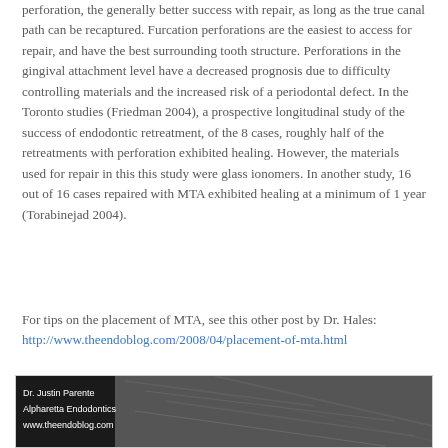perforation, the generally better success with repair, as long as the true canal path can be recaptured.  Furcation perforations are the easiest to access for repair, and have the best surrounding tooth structure.  Perforations in the gingival attachment level have a decreased prognosis due to difficulty controlling materials and the increased risk of a periodontal defect.  In the Toronto studies (Friedman 2004), a prospective longitudinal study of the success of endodontic retreatment, of the 8 cases, roughly half of the retreatments with perforation exhibited healing.  However, the materials used for repair in this this study were glass ionomers.  In another study, 16 out of 16 cases repaired with MTA exhibited healing at a minimum of 1 year (Torabinejad 2004).
For tips on the placement of MTA, see this other post by Dr. Hales: http://www.theendoblog.com/2008/04/placement-of-mta.html
[Figure (photo): Grayscale endodontic image with overlay text: Dr. Justin Parente, Alpharetta Endodontics, www.theendoblog.com]